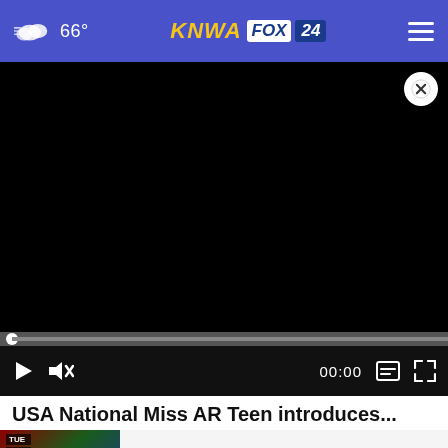66° KNWA FOX 24
[Figure (screenshot): Black video player area with close (X) button in top right corner, progress bar, and playback controls including play button, mute button, time display 00:00, caption and fullscreen buttons]
USA National Miss AR Teen introduces...
[Figure (screenshot): Thumbnail image with TUE WED THU labels overlay]
Forecast
Weather / 2 weeks ago